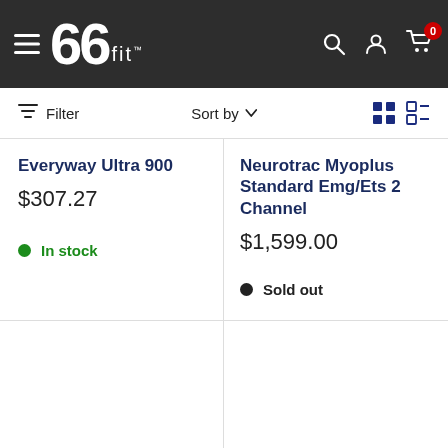66fit — navigation header with logo, menu, search, account, and cart (0 items)
Filter   Sort by   [grid view] [list view]
Everyway Ultra 900
$307.27
• In stock
Neurotrac Myoplus Standard Emg/Ets 2 Channel
$1,599.00
• Sold out